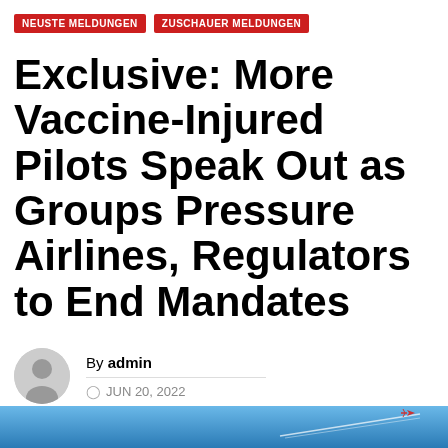NEUSTE MELDUNGEN   ZUSCHAUER MELDUNGEN
Exclusive: More Vaccine-Injured Pilots Speak Out as Groups Pressure Airlines, Regulators to End Mandates
By admin
JUN 20, 2022
[Figure (photo): Blue sky with airplane contrail at the bottom of the page]